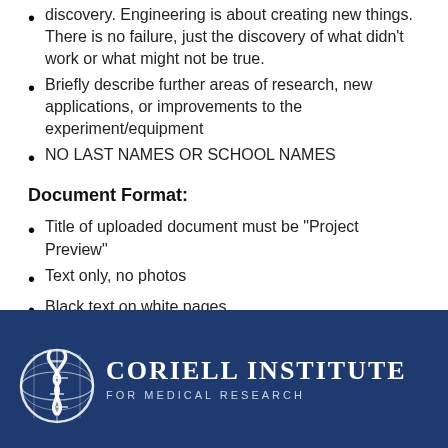discovery. Engineering is about creating new things. There is no failure, just the discovery of what didn't work or what might not be true.
Briefly describe further areas of research, new applications, or improvements to the experiment/equipment
NO LAST NAMES OR SCHOOL NAMES
Document Format:
Title of uploaded document must be "Project Preview"
Text only, no photos
Black text on white pages
Two (2) pages MAX
Minimum Font size of 12
Must upload as a PDF
[Figure (logo): Coriell Institute for Medical Research logo — white DNA helix and globe icon on dark navy background, with text 'CORIELL INSTITUTE FOR MEDICAL RESEARCH']